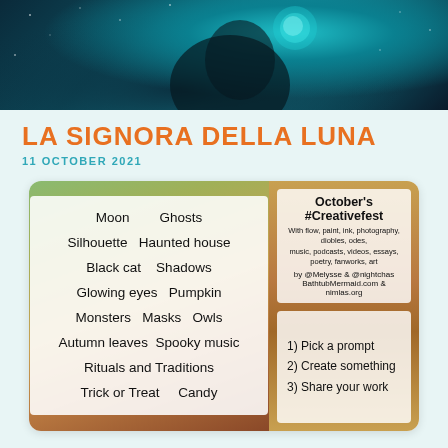[Figure (photo): Dark atmospheric photo of a woman's silhouette with glowing teal/cyan light, against a starry night background]
LA SIGNORA DELLA LUNA
11 OCTOBER 2021
[Figure (infographic): October's #Creativefest promotional card with two panels. Left panel lists Halloween/autumn creative prompts: Moon, Ghosts, Silhouette, Haunted house, Black cat, Shadows, Glowing eyes, Pumpkin, Monsters, Masks, Owls, Autumn leaves, Spooky music, Rituals and Traditions, Trick or Treat, Candy. Right panel top shows 'October's #Creativefest' with attribution to @Melysse & @nightchas, BathtubMermaid.com & nimlas.org. Right panel bottom shows: 1) Pick a prompt 2) Create something 3) Share your work]